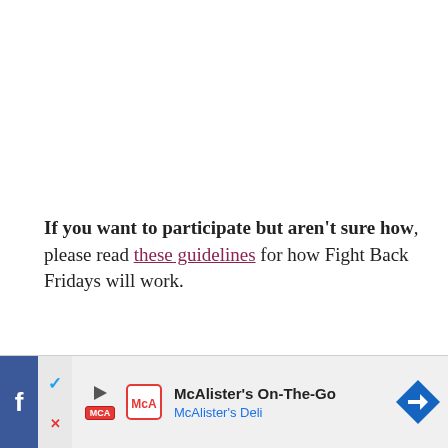If you want to participate but aren't sure how, please read these guidelines for how Fight Back Fridays will work.
Please be courteous and use your BEST blog carnival manners! In the very least, that means remember the two most important things you can do:
1. Sh... ...using ...our
[Figure (screenshot): Ad banner at bottom: McAlister's On-The-Go / McAlister's Deli advertisement with Facebook and Twitter social icons on the left and a navigation arrow icon on the right.]